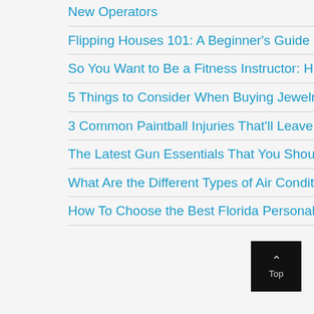New Operators
Flipping Houses 101: A Beginner's Guide
So You Want to Be a Fitness Instructor: Here's What You Need to Know
5 Things to Consider When Buying Jewelry as a Gift
3 Common Paintball Injuries That'll Leave You With a Lot of Pain
The Latest Gun Essentials That You Should Have In Your Range Bag
What Are the Different Types of Air Conditioning Units?
How To Choose the Best Florida Personal Injury Lawyer